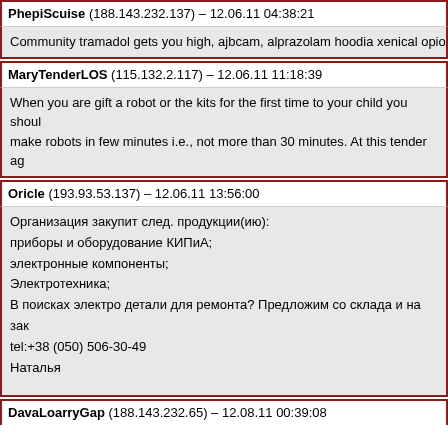PhepiScuise (188.143.232.137) – 12.06.11 04:38:21
Community tramadol gets you high, ajbcam, alprazolam hoodia xenical opio
MaryTenderLOS (115.132.2.117) – 12.06.11 11:18:39
When you are gift a robot or the kits for the first time to your child you should make robots in few minutes i.e., not more than 30 minutes. At this tender age make robots and know exactly about each part and their functions. Children their own world.
Oricle (193.93.53.137) – 12.06.11 13:56:00
Организация закупит след. продукции(ию):
приборы и оборудование КИПиА;
электронные компоненты;
Электротехника;
В поисках электро детали для ремонта? Предложим со склада и на зак
tel:+38 (050) 506-30-49
Наталья

потребность постоянная:


дл112-25-от 10 45шт


2рмт14кун4г1а1в 19шт
шр16у2нш5 44шт
тб143-500-11кл 16шт
кэм3 а 200шт
DavaLoarryGap (188.143.232.65) – 12.08.11 00:39:08